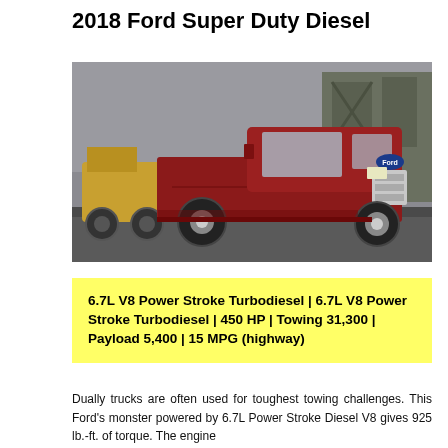2018 Ford Super Duty Diesel
[Figure (photo): Red 2018 Ford Super Duty truck driving on a road near an industrial building with a cloudy sky background]
6.7L V8 Power Stroke Turbodiesel | 6.7L V8 Power Stroke Turbodiesel | 450 HP | Towing 31,300 | Payload 5,400 | 15 MPG (highway)
Dually trucks are often used for toughest towing challenges. This Ford's monster powered by 6.7L Power Stroke Diesel V8 gives 925 lb.-ft. of torque. The engine